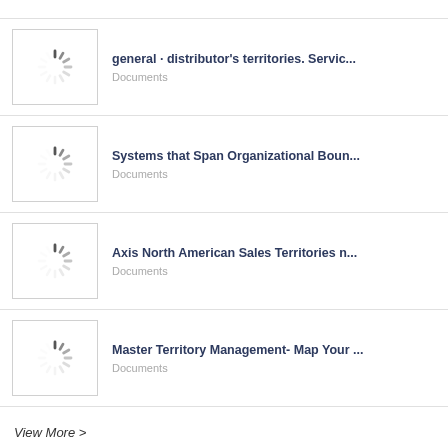[Figure (other): Loading spinner thumbnail placeholder]
general · distributor's territories. Servic...
Documents
[Figure (other): Loading spinner thumbnail placeholder]
Systems that Span Organizational Boun...
Documents
[Figure (other): Loading spinner thumbnail placeholder]
Axis North American Sales Territories n...
Documents
[Figure (other): Loading spinner thumbnail placeholder]
Master Territory Management- Map Your ...
Documents
View More >